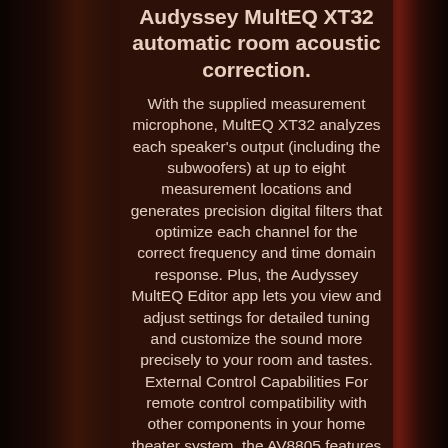Audyssey MultEQ XT32 automatic room acoustic correction.
With the supplied measurement microphone, MultEQ XT32 analyzes each speaker's output (including the subwoofers) at up to eight measurement locations and generates precision digital filters that optimize each channel for the correct frequency and time domain response. Plus, the Audyssey MultEQ Editor app lets you view and adjust settings for detailed tuning and customize the sound more precisely to your room and tastes. External Control Capabilities For remote control compatibility with other components in your home theater system, the AV8805 features an IR (infrared) remote control input and output on the rear panel, along with dual 12V trigger outputs. For direct connection to external home automation and control equipment, the AV8805 features an RS-232C serial port with Control4 SDDP (Simple Device Detection Protocol) and Crestron Connected